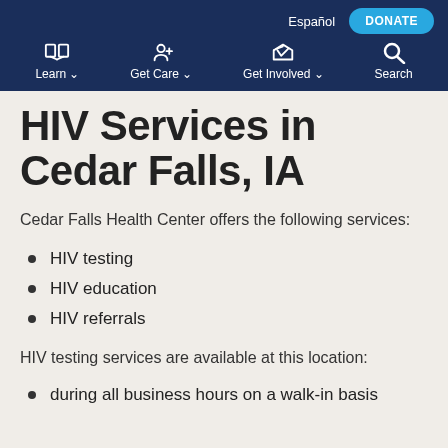Español | DONATE | Learn ▾ | Get Care ▾ | Get Involved ▾ | Search
HIV Services in Cedar Falls, IA
Cedar Falls Health Center offers the following services:
HIV testing
HIV education
HIV referrals
HIV testing services are available at this location:
during all business hours on a walk-in basis